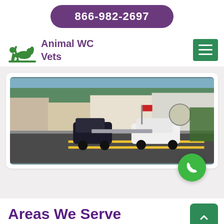866-982-2697
Animal WC Vets
[Figure (photo): Street scene with buildings and cars on a road]
Areas We Serve